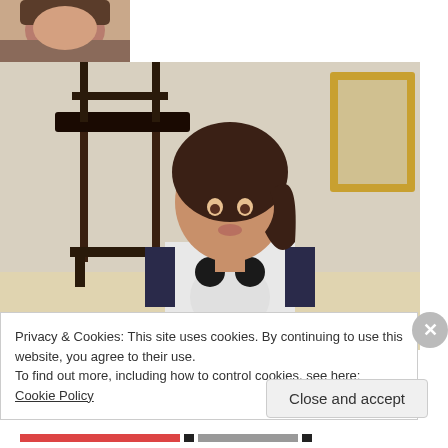[Figure (photo): Partial photo of a person (woman/girl) visible at the top left corner, cropped]
[Figure (photo): A young girl with a ponytail wearing a Minnie Mouse t-shirt standing in a kitchen/living room area with a barstool and framed picture in background]
Privacy & Cookies: This site uses cookies. By continuing to use this website, you agree to their use.
To find out more, including how to control cookies, see here: Cookie Policy
Close and accept